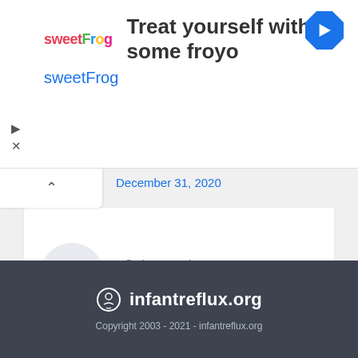[Figure (other): SweetFrog frozen yogurt advertisement banner with logo and navigation icon]
December 31, 2020
Calprotectin
December 26, 2020
infantreflux.org
Copyright 2003 - 2021 - infantreflux.org